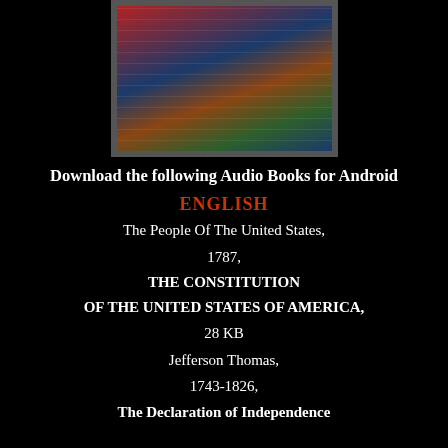[Figure (illustration): Historical illustration showing American founding figures with the US flag in the background, displayed in a gray-bordered frame on a black background.]
Download the following Audio Books for Android
ENGLISH
The People Of The United States,
1787,
THE CONSTITUTION
OF THE UNITED STATES OF AMERICA,
28 KB
Jefferson Thomas,
1743-1826,
The Declaration of Independence